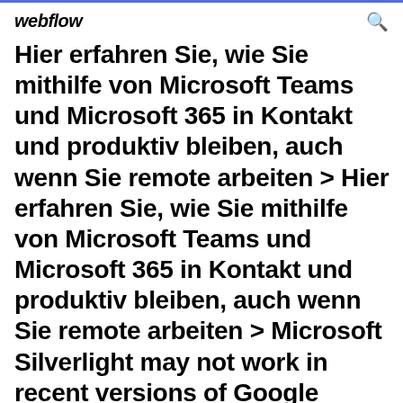webflow
Hier erfahren Sie, wie Sie mithilfe von Microsoft Teams und Microsoft 365 in Kontakt und produktiv bleiben, auch wenn Sie remote arbeiten > Hier erfahren Sie, wie Sie mithilfe von Microsoft Teams und Microsoft 365 in Kontakt und produktiv bleiben, auch wenn Sie remote arbeiten > Microsoft Silverlight may not work in recent versions of Google Chrome. Von Microsoft bereitgestellte Inhalte